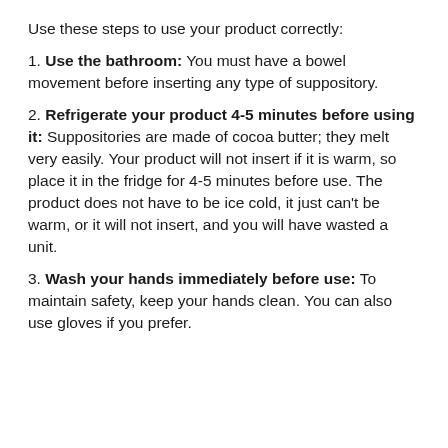Use these steps to use your product correctly:
1. Use the bathroom: You must have a bowel movement before inserting any type of suppository.
2. Refrigerate your product 4-5 minutes before using it: Suppositories are made of cocoa butter; they melt very easily. Your product will not insert if it is warm, so place it in the fridge for 4-5 minutes before use. The product does not have to be ice cold, it just can’t be warm, or it will not insert, and you will have wasted a unit.
3. Wash your hands immediately before use: To maintain safety, keep your hands clean. You can also use gloves if you prefer.